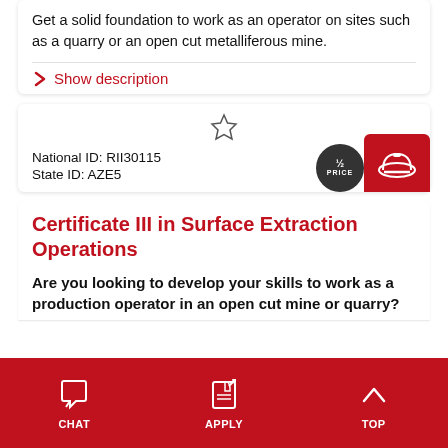Get a solid foundation to work as an operator on sites such as a quarry or an open cut metalliferous mine.
Show description
National ID: RII30115
State ID: AZE5
Certificate III in Surface Extraction Operations
Are you looking to develop your skills to work as a production operator in an open cut mine or quarry?
CHAT   APPLY   TOP